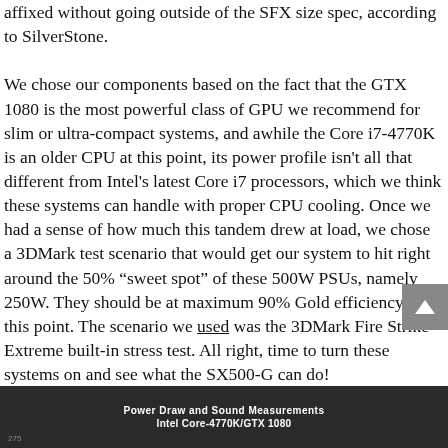affixed without going outside of the SFX size spec, according to SilverStone.

We chose our components based on the fact that the GTX 1080 is the most powerful class of GPU we recommend for slim or ultra-compact systems, and awhile the Core i7-4770K is an older CPU at this point, its power profile isn't all that different from Intel's latest Core i7 processors, which we think these systems can handle with proper CPU cooling. Once we had a sense of how much this tandem drew at load, we chose a 3DMark test scenario that would get our system to hit right around the 50% "sweet spot" of these 500W PSUs, namely 250W. They should be at maximum 90% Gold efficiency at this point. The scenario we used was the 3DMark Fire Strike Extreme built-in stress test. All right, time to turn these systems on and see what the SX500-G can do!
[Figure (other): Dark footer bar with text 'Power Draw and Sound Measurements' and 'Intel Core-4770K/GTX 1080']
275